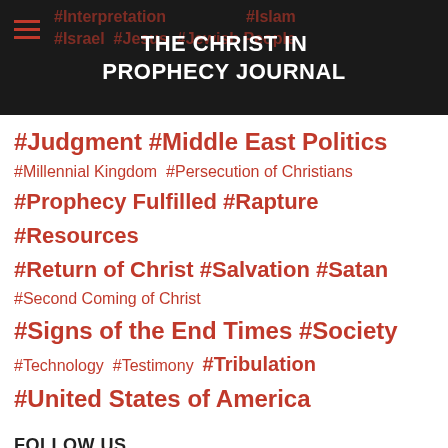THE CHRIST IN PROPHECY JOURNAL
#Judgment #Middle East Politics #Millennial Kingdom #Persecution of Christians #Prophecy Fulfilled #Rapture #Resources #Return of Christ #Salvation #Satan #Second Coming of Christ #Signs of the End Times #Society #Technology #Testimony #Tribulation #United States of America
FOLLOW US
Total fans  112k